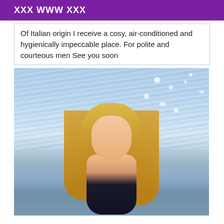XXX WWW XXX
Of Italian origin I receive a cosy, air-conditioned and hygienically impeccable place. For polite and courteous men See you soon
[Figure (photo): Blonde woman in a swimsuit posing near water with sun reflections on the surface]